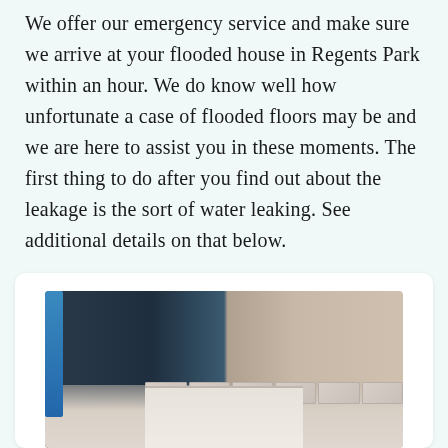We offer our emergency service and make sure we arrive at your flooded house in Regents Park within an hour. We do know well how unfortunate a case of flooded floors may be and we are here to assist you in these moments. The first thing to do after you find out about the leakage is the sort of water leaking. See additional details on that below.
[Figure (photo): Photo showing a flooded floor with water damage — a dark navy/black waterproof barrier or equipment on the left, and tiled flooring with grout visible on the right, with a beige/tan wall in the background.]